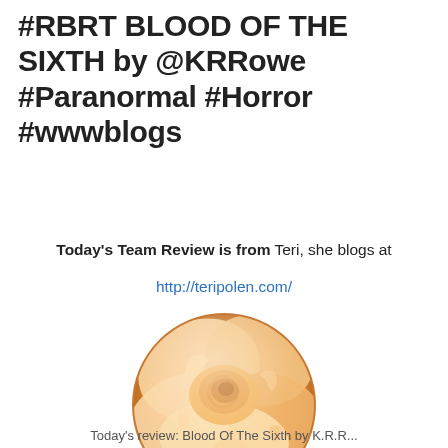#RBRT BLOOD OF THE SIXTH by @KRRowe #Paranormal #Horror #wwwblogs
Today's Team Review is from Teri, she blogs at
http://teripolen.com/
[Figure (logo): Circular badge with an orange rose photo and red text reading 'Rosie's Book Review Team']
Today's review: Blood Of The Sixth by K.R.R...